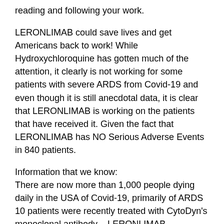reading and following your work.
LERONLIMAB could save lives and get Americans back to work! While Hydroxychloroquine has gotten much of the attention, it clearly is not working for some patients with severe ARDS from Covid-19 and even though it is still anecdotal data, it is clear that LERONLIMAB is working on the patients that have received it. Given the fact that LERONLIMAB has NO Serious Adverse Events in 840 patients.
Information that we know:
There are now more than 1,000 people dying daily in the USA of Covid-19, primarily of ARDS
10 patients were recently treated with CytoDyn's monoclonal antibody – LERONLIMAB
These 10 patients with severe late stage Covid-19 experiencing ARDS, all had been taking Hydroxychloroquine for several days at the time of receiving a treatment of LERONLIMAB
All 10 patients have responded positively and several of them have been extubated (taken off the ventilator)
LERONLIMAB has been in FDA trials for use in indications for HIV and mTNBC and has injected at least 840 patients over the